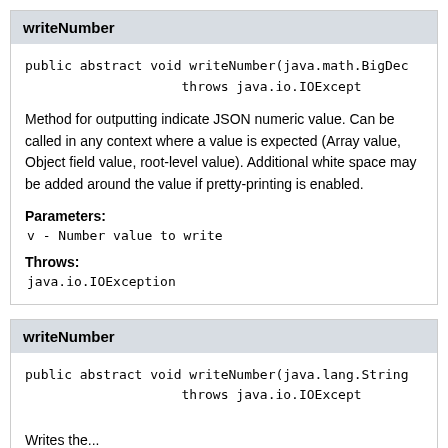writeNumber
public abstract void writeNumber(java.math.BigDec
                    throws java.io.IOExcept
Method for outputting indicate JSON numeric value. Can be called in any context where a value is expected (Array value, Object field value, root-level value). Additional white space may be added around the value if pretty-printing is enabled.
Parameters:
v - Number value to write
Throws:
java.io.IOException
writeNumber
public abstract void writeNumber(java.lang.String
                    throws java.io.IOExcept
Writes the...